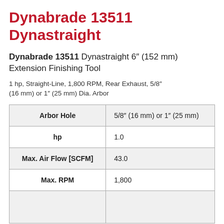Dynabrade 13511 Dynastraight
Dynabrade 13511 Dynastraight 6″ (152 mm) Extension Finishing Tool
1 hp, Straight-Line, 1,800 RPM, Rear Exhaust, 5/8″ (16 mm) or 1″ (25 mm) Dia. Arbor
| Arbor Hole | hp | Max. Air Flow [SCFM] | Max. RPM |
| --- | --- | --- | --- |
| Arbor Hole | 5/8″ (16 mm) or 1″ (25 mm) |
| hp | 1.0 |
| Max. Air Flow [SCFM] | 43.0 |
| Max. RPM | 1,800 |